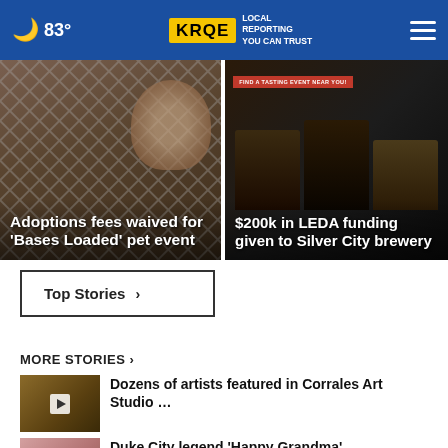83° KRQE LOCAL REPORTING YOU CAN TRUST
[Figure (photo): Adoptions fees waived for 'Bases Loaded' pet event - dogs behind fence]
[Figure (photo): $200k in LEDA funding given to Silver City brewery - beer bottles/cans display]
Top Stories >
MORE STORIES >
Dozens of artists featured in Corrales Art Studio …
Duke City legend 'Happy Grandma'